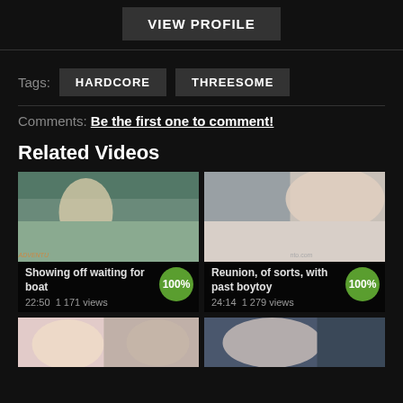VIEW PROFILE
Tags: HARDCORE THREESOME
Comments: Be the first one to comment!
Related Videos
[Figure (screenshot): Video thumbnail: Showing off waiting for boat, 22:50, 1 171 views, 100% rating]
[Figure (screenshot): Video thumbnail: Reunion, of sorts, with past boytoy, 24:14, 1 279 views, 100% rating]
[Figure (screenshot): Video thumbnail (partial, bottom row left)]
[Figure (screenshot): Video thumbnail (partial, bottom row right)]